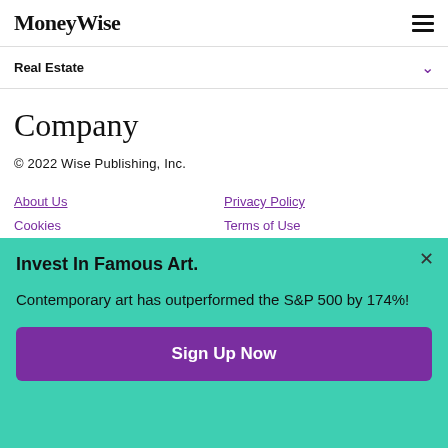MoneyWise
Real Estate
Company
© 2022 Wise Publishing, Inc.
About Us
Privacy Policy
Cookies
Terms of Use
Invest In Famous Art.

Contemporary art has outperformed the S&P 500 by 174%!
Sign Up Now